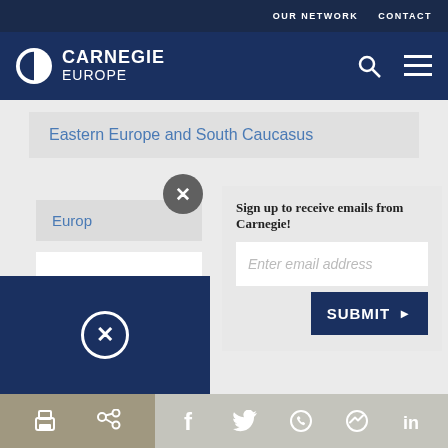OUR NETWORK   CONTACT
[Figure (logo): Carnegie Europe logo — circular C icon with CARNEGIE EUROPE wordmark on dark navy background, search icon and hamburger menu icon on right]
Eastern Europe and South Caucasus
Europ
Sign up to receive emails from Carnegie!
Enter email address
SUBMIT ▶
Europ
Print | Share | Facebook | Twitter | WhatsApp | Messenger | LinkedIn